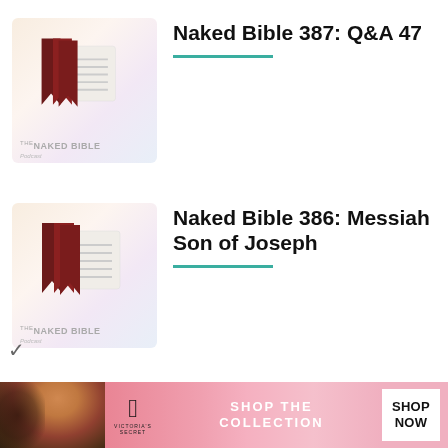[Figure (screenshot): Naked Bible Podcast thumbnail logo - book icon with dark red/maroon bookmark ribbons on cream/pastel background]
Naked Bible 387: Q&A 47
[Figure (screenshot): Naked Bible Podcast thumbnail logo - book icon with dark red/maroon bookmark ribbons on cream/pastel background]
Naked Bible 386: Messiah Son of Joseph
[Figure (screenshot): Naked Bible Podcast thumbnail logo - book icon with dark red/maroon bookmark ribbons on cream/pastel background]
Naked Bible 385: The Psalms and Eschatology
[Figure (infographic): Victoria's Secret advertisement banner with model photo, VS logo, 'SHOP THE COLLECTION' text, and 'SHOP NOW' button]